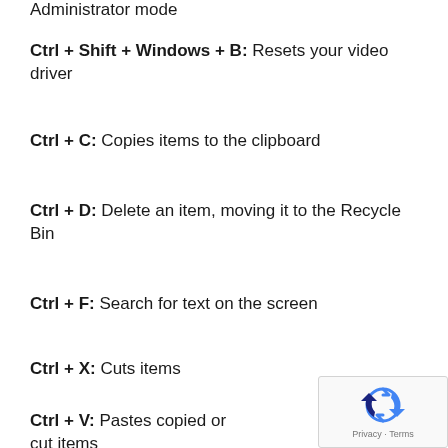Administrator mode
Ctrl + Shift + Windows + B: Resets your video driver
Ctrl + C: Copies items to the clipboard
Ctrl + D: Delete an item, moving it to the Recycle Bin
Ctrl + F: Search for text on the screen
Ctrl + X: Cuts items
Ctrl + V: Pastes copied or cut items
[Figure (logo): reCAPTCHA logo with Privacy and Terms text]